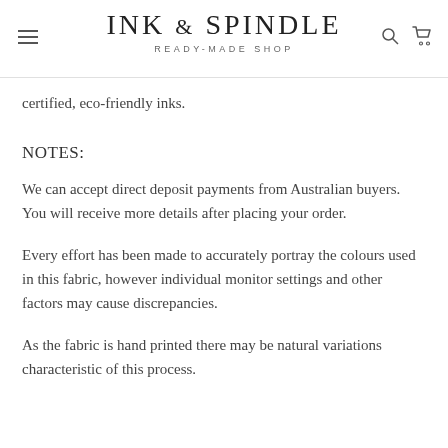INK & SPINDLE — READY-MADE SHOP
certified, eco-friendly inks.
NOTES:
We can accept direct deposit payments from Australian buyers. You will receive more details after placing your order.
Every effort has been made to accurately portray the colours used in this fabric, however individual monitor settings and other factors may cause discrepancies.
As the fabric is hand printed there may be natural variations characteristic of this process.